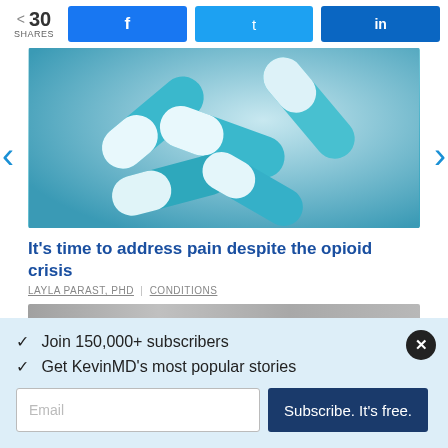30 SHARES | Facebook | Twitter | LinkedIn
[Figure (photo): Teal and white capsule pills scattered on a teal/blue background]
It’s time to address pain despite the opioid crisis
LAYLA PARAST, PHD | CONDITIONS
✓ Join 150,000+ subscribers
✓ Get KevinMD’s most popular stories
Email
Subscribe. It’s free.